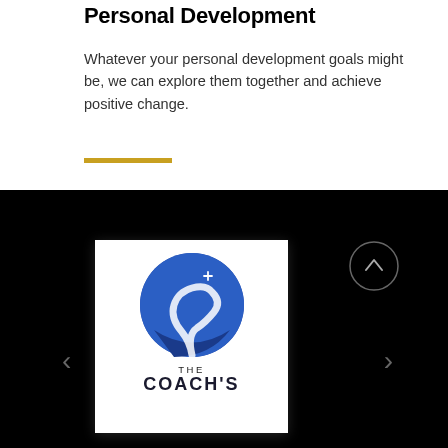Personal Development
Whatever your personal development goals might be, we can explore them together and achieve positive change.
[Figure (other): Gold horizontal decorative bar/divider line]
[Figure (illustration): Dark background section with a centered white card showing The Coach's logo: a blue circle with a winding white path and a white star/cross, with text THE COACH'S below. Navigation arrows left and right visible, and an up-arrow circle button in upper right of dark area.]